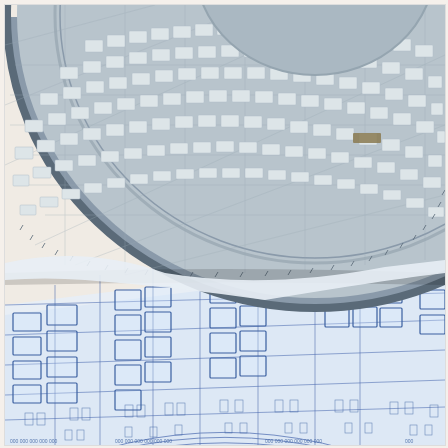[Figure (photo): A photograph showing a model of the USS Enterprise NCC-1701 starship saucer section (upper portion, grey plastic model with raised panel details and windows) placed on top of a set of blueprints/technical drawings (lower portion, white paper with blue line drawings showing the same saucer section floor plan with detailed room layouts, corridors, and structural elements). The text 'U.S.S. ENTER' and 'NCC-17' are partially visible on the model.]